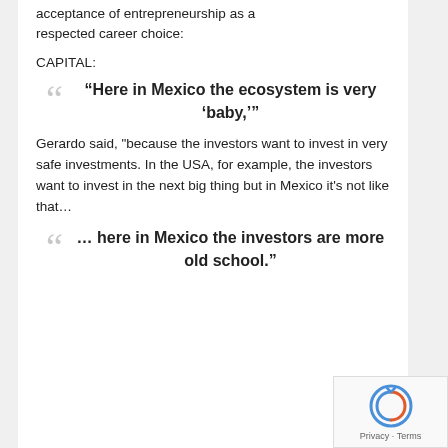acceptance of entrepreneurship as a respected career choice:
CAPITAL:
“Here in Mexico the ecosystem is very ‘baby,’”
Gerardo said, "because the investors want to invest in very safe investments. In the USA, for example, the investors want to invest in the next big thing but in Mexico it’s not like that…
… here in Mexico the investors are more old school.”
[Figure (logo): reCAPTCHA logo with Privacy and Terms links]